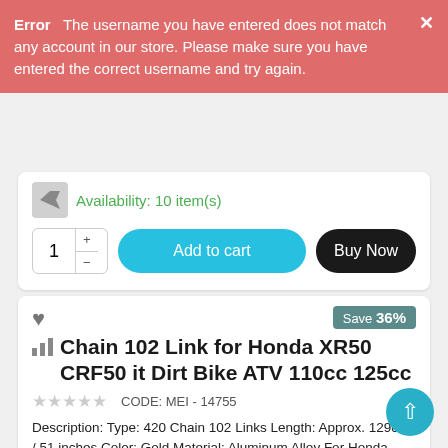Error  The username you have entered does not match any account in our store. Please make sure you have entered the correct username and try again.
Availability: 10 item(s)
[Figure (screenshot): Quantity selector showing '1' with plus/minus arrows, 'Add to cart' teal button, and 'Buy Now' black button]
[Figure (screenshot): Product listing card showing heart icon, Save 36% badge, bar chart icon, product title 'Chain 102 Link for Honda XR50 CRF50 it Dirt Bike ATV 110cc 125cc', 5 empty star rating, CODE: MEI-14755, and product description text]
Chain 102 Link for Honda XR50 CRF50 it Dirt Bike ATV 110cc 125cc
CODE: MEI - 14755
Description: Type: 420 Chain 102 Links Length: Approx. 129cm / 51 inches Color: Gold Material: Aluminum Alloy For Honda XR50 CRF50 XR/CRF70 Pit Dirt Bike ATV 110 125cc Package Includes: 1 Piece 102 Links 420 Chain Note: Please allow slightly difference due to manual measurement. Color may be slightly different since different monitor. Thanks!